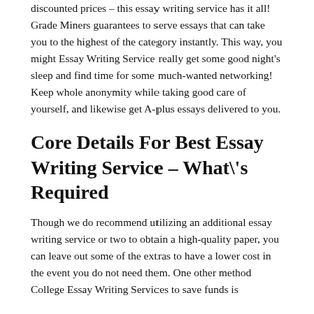discounted prices – this essay writing service has it all! Grade Miners guarantees to serve essays that can take you to the highest of the category instantly. This way, you might Essay Writing Service really get some good night's sleep and find time for some much-wanted networking! Keep whole anonymity while taking good care of yourself, and likewise get A-plus essays delivered to you.
Core Details For Best Essay Writing Service – What\'s Required
Though we do recommend utilizing an additional essay writing service or two to obtain a high-quality paper, you can leave out some of the extras to have a lower cost in the event you do not need them. One other method College Essay Writing Services to save funds is